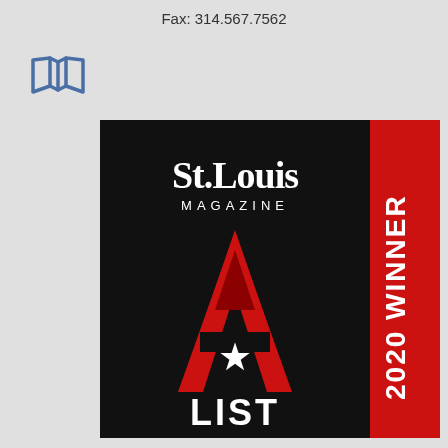Fax: 314.567.7562
[Figure (logo): Map/book icon in blue outline style]
[Figure (logo): St. Louis Magazine A-List 2020 Winner badge. Black background with red letter A containing a white star, white text 'St.Louis MAGAZINE' and 'LIST'. Red vertical banner on right side reading '2020 WINNER' rotated 90 degrees.]